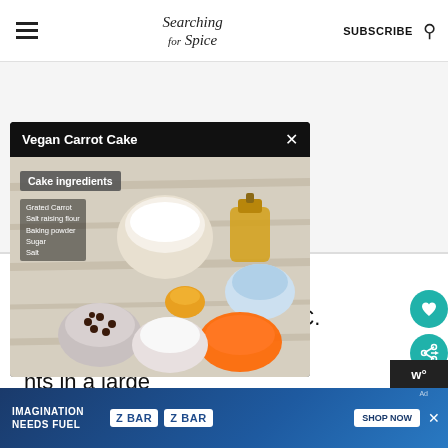Searching for Spice | SUBSCRIBE
[Figure (other): Gray placeholder/advertisement area below header]
INSTRUCTIONS
60C.
m cake tin.
nts in a large
[Figure (screenshot): Popup overlay showing 'Vegan Carrot Cake' with a photo of cake ingredients: bowls of grated carrot, flour, chocolate chips, sugar, oil, baking powder, salt on a wooden surface. Labels list: Grated Carrot, Salt raising flour, Baking powder, Sugar, Salt.]
4. Add in all the other ingredients and
[Figure (infographic): Advertisement banner for CLIF Z Bar with text 'IMAGINATION NEEDS FUEL' and 'SHOP NOW' button]